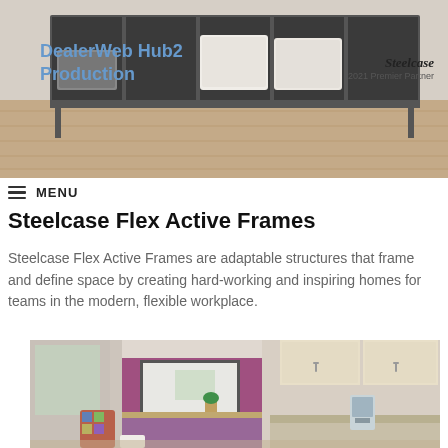[Figure (photo): Photo of a Steelcase Flex Active Frames shelf unit with storage baskets, shown in a room with wood-look flooring. Overlay text includes DealerWeb Hub2 Production watermark and Steelcase 2021 Premier Partner logo.]
MENU
Steelcase Flex Active Frames
Steelcase Flex Active Frames are adaptable structures that frame and define space by creating hard-working and inspiring homes for teams in the modern, flexible workplace.
[Figure (photo): Interior photo of a healthcare or office room with a purple/magenta accent wall, whiteboard, wood cabinetry, desk, colorful chair, and medical equipment.]